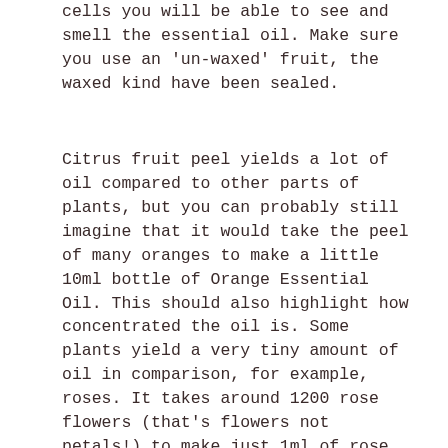cells you will be able to see and smell the essential oil.  Make sure you use an 'un-waxed' fruit, the waxed kind have been sealed.
Citrus fruit peel yields a lot of oil compared to other parts of plants, but you can probably still imagine that it would take the peel of many oranges to make a little 10ml bottle of Orange Essential Oil.  This should also highlight how concentrated the oil is.  Some plants yield a very tiny amount of oil in comparison, for example, roses.  It takes around 1200 rose flowers (that's flowers not petals!) to make just 1ml of rose essential oil, which equals around 40 drops of extremely precious oil!  This should go a little way to addressing the high price of rose oil and other delicate floral oils, which generally hold a very small amount of essential oil.